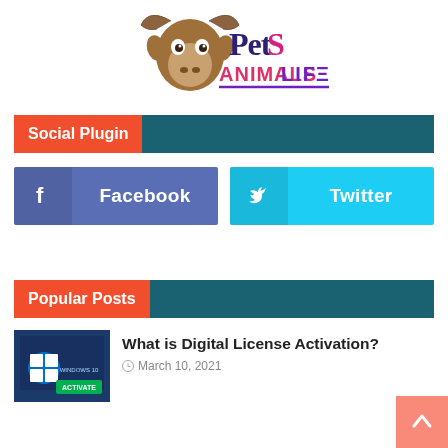[Figure (logo): Pets Animals Life logo with a cartoon bull/yak head and stylized text reading 'PetS ANIMALSLIFE' in pink/purple colors]
Social Plugin
[Figure (infographic): Facebook and Twitter social plugin buttons side by side]
Popular Posts
[Figure (screenshot): Thumbnail image for 'What is Digital License Activation?' post showing Windows 10 activation screen]
What is Digital License Activation?
March 10, 2021